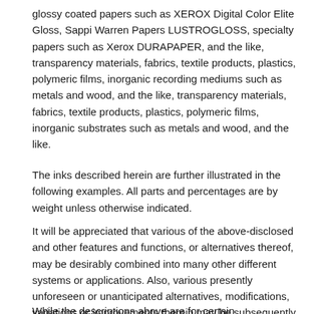glossy coated papers such as XEROX Digital Color Elite Gloss, Sappi Warren Papers LUSTROGLOSS, specialty papers such as Xerox DURAPAPER, and the like, transparency materials, fabrics, textile products, plastics, polymeric films, inorganic recording mediums such as metals and wood, and the like, transparency materials, fabrics, textile products, plastics, polymeric films, inorganic substrates such as metals and wood, and the like.
The inks described herein are further illustrated in the following examples. All parts and percentages are by weight unless otherwise indicated.
It will be appreciated that various of the above-disclosed and other features and functions, or alternatives thereof, may be desirably combined into many other different systems or applications. Also, various presently unforeseen or unanticipated alternatives, modifications, variations or improvements therein may be subsequently made by those skilled in the art, and are also intended to be encompassed by the following claims.
While the descriptions above are for certain embodiments,